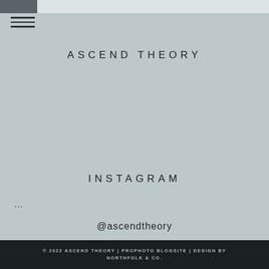ASCEND THEORY
ASCEND THEORY
INSTAGRAM
...
@ascendtheory
© 2022 ASCEND THEORY | PROPHOTO BLOGSITE | DESIGN BY NORTHFOLK & CO.